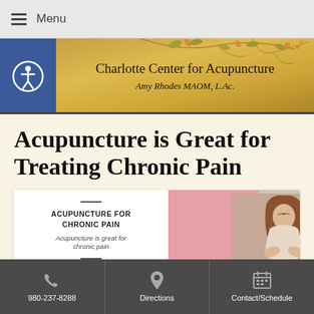Menu
[Figure (logo): Charlotte Center for Acupuncture banner with golden floral background. Text: Charlotte Center for Acupuncture, Amy Rhodes MAOM, L.Ac. Blue accessibility icon on left.]
Acupuncture is Great for Treating Chronic Pain
[Figure (illustration): Info card with text 'ACUPUNCTURE FOR CHRONIC PAIN - Acupuncture is great for chronic pain' on left white panel. Right panel shows photo of woman holding her stomach/abdomen area against pink background.]
980-237-8288  Directions  Contact/Schedule